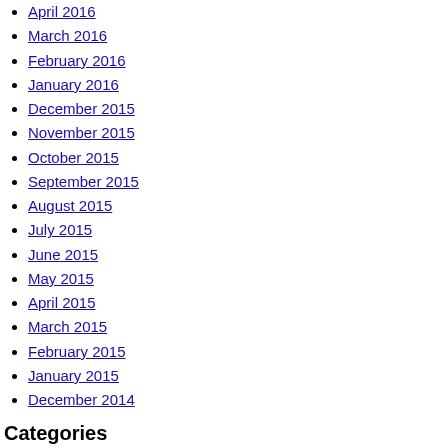April 2016
March 2016
February 2016
January 2016
December 2015
November 2015
October 2015
September 2015
August 2015
July 2015
June 2015
May 2015
April 2015
March 2015
February 2015
January 2015
December 2014
Categories
Buyers